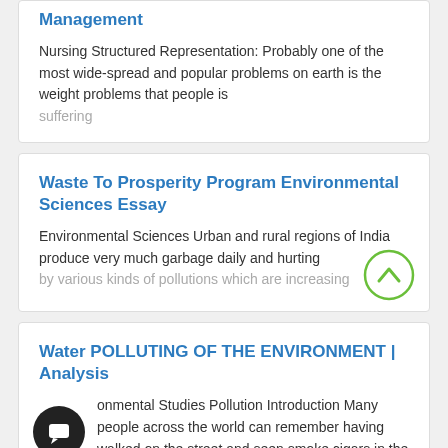Management
Nursing Structured Representation: Probably one of the most wide-spread and popular problems on earth is the weight problems that people is suffering
Waste To Prosperity Program Environmental Sciences Essay
Environmental Sciences Urban and rural regions of India produce very much garbage daily and hurting by various kinds of pollutions which are increasing
[Figure (other): Scroll-to-top button: circle with upward chevron arrow in green outline]
Water POLLUTING OF THE ENVIRONMENT | Analysis
Environmental Studies Pollution Introduction Many people across the world can remember having walked on the street and seen smoke cigars in the
[Figure (other): Chat/support button: dark circle with white chat bubble icon]